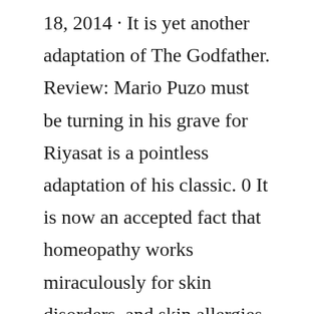18, 2014 · It is yet another adaptation of The Godfather. Review: Mario Puzo must be turning in his grave for Riyasat is a pointless adaptation of his classic. 0 It is now an accepted fact that homeopathy works miraculously for skin disorders, and skin allergies are very effectively treatable with homeopathic medicines. Even if the skin disorder is chronic and has been in the body for many years, the biggest advantage that homeopathic treatment has is that it can